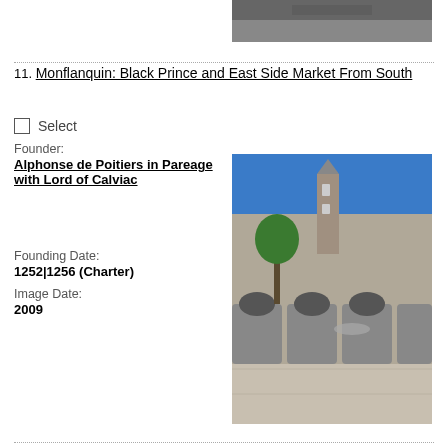[Figure (photo): Partial photo of a road or surface, cropped at top of page]
11. Monflanquin: Black Prince and East Side Market From South
Select
Founder: Alphonse de Poitiers in Pareage with Lord of Calviac
Founding Date: 1252|1256 (Charter)
Image Date: 2009
[Figure (photo): Photo of Monflanquin medieval market square showing stone arcade buildings, a tower, and blue sky with trees]